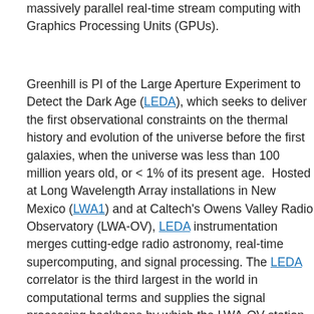massively parallel real-time stream computing with Graphics Processing Units (GPUs).
Greenhill is PI of the Large Aperture Experiment to Detect the Dark Age (LEDA), which seeks to deliver the first observational constraints on the thermal history and evolution of the universe before the first galaxies, when the universe was less than 100 million years old, or < 1% of its present age.  Hosted at Long Wavelength Array installations in New Mexico (LWA1) and at Caltech's Owens Valley Radio Observatory (LWA-OV), LEDA instrumentation merges cutting-edge radio astronomy, real-time supercomputing, and signal processing. The LEDA correlator is the third largest in the world in computational terms and supplies the signal processing backbone by which the LWA-OV station generates instantaneous snapshot images of the full sky (horizon to horizon) in a search for radio bursts from exoplanets and other phenomena.